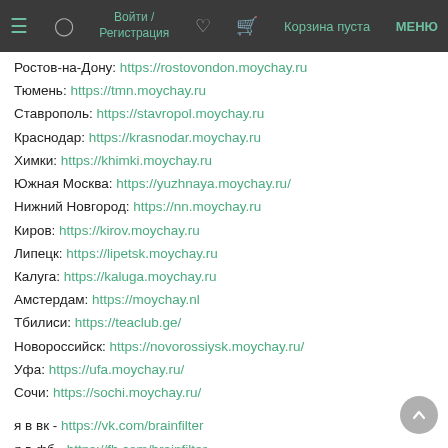Войти / Регистрация  Корзина пуста  МЕНЮ
Ростов-на-Дону: https://rostovondon.moychay.ru
Тюмень: https://tmn.moychay.ru
Ставрополь: https://stavropol.moychay.ru
Краснодар: https://krasnodar.moychay.ru
Химки: https://khimki.moychay.ru
Южная Москва: https://yuzhnaya.moychay.ru/
Нижний Новгород: https://nn.moychay.ru
Киров: https://kirov.moychay.ru
Липецк: https://lipetsk.moychay.ru
Калуга: https://kaluga.moychay.ru
Амстердам: https://moychay.nl
Тбилиси: https://teaclub.ge/
Новороссийск: https://novorossiysk.moychay.ru/
Уфа: https://ufa.moychay.ru/
Сочи: https://sochi.moychay.ru/
я в вк - https://vk.com/brainfilter
я в фб - https://fb.com/brainfilter